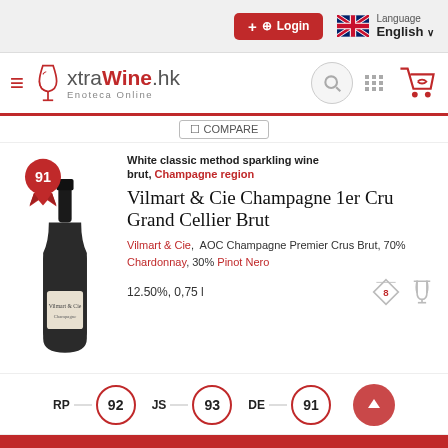Login | Language English
[Figure (logo): xtraWine.hk Enoteca Online logo with wine glass icon]
COMPARE
White classic method sparkling wine brut, Champagne region
Vilmart & Cie Champagne 1er Cru Grand Cellier Brut
Vilmart & Cie, AOC Champagne Premier Crus Brut, 70% Chardonnay, 30% Pinot Nero
12.50%, 0,75 l
RP 92   JS 93   DE 91
3  7  55  FILTER PRODUCTS  HKS 546.00